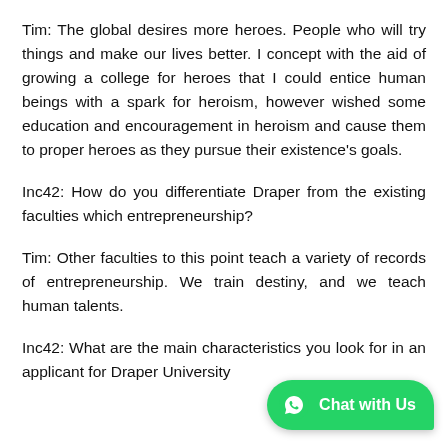Tim: The global desires more heroes. People who will try things and make our lives better. I concept with the aid of growing a college for heroes that I could entice human beings with a spark for heroism, however wished some education and encouragement in heroism and cause them to proper heroes as they pursue their existence's goals.
Inc42: How do you differentiate Draper from the existing faculties which entrepreneurship?
Tim: Other faculties to this point teach a variety of records of entrepreneurship. We train destiny, and we teach human talents.
Inc42: What are the main characteristics you look for in an applicant for Draper University